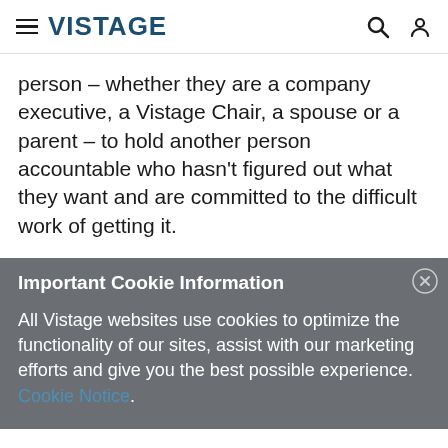VISTAGE
person – whether they are a company executive, a Vistage Chair, a spouse or a parent – to hold another person accountable who hasn't figured out what they want and are committed to the difficult work of getting it.
Important Cookie Information
All Vistage websites use cookies to optimize the functionality of our sites, assist with our marketing efforts and give you the best possible experience. Cookie Notice.